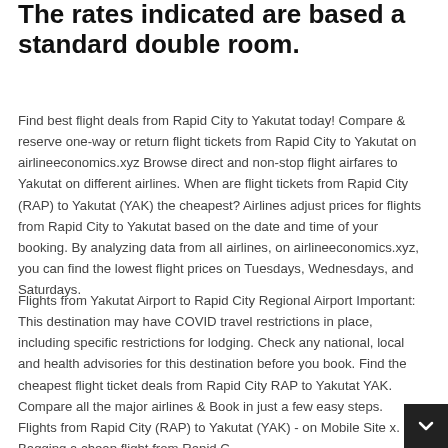The rates indicated are based a standard double room.
Find best flight deals from Rapid City to Yakutat today! Compare & reserve one-way or return flight tickets from Rapid City to Yakutat on airlineeconomics.xyz Browse direct and non-stop flight airfares to Yakutat on different airlines. When are flight tickets from Rapid City (RAP) to Yakutat (YAK) the cheapest? Airlines adjust prices for flights from Rapid City to Yakutat based on the date and time of your booking. By analyzing data from all airlines, on airlineeconomics.xyz, you can find the lowest flight prices on Tuesdays, Wednesdays, and Saturdays.
Flights from Yakutat Airport to Rapid City Regional Airport Important: This destination may have COVID travel restrictions in place, including specific restrictions for lodging. Check any national, local and health advisories for this destination before you book. Find the cheapest flight ticket deals from Rapid City RAP to Yakutat YAK. Compare all the major airlines & Book in just a few easy steps. Flights from Rapid City (RAP) to Yakutat (YAK) - on Mobile Site x. Bagging a cheap flight from Rapid C